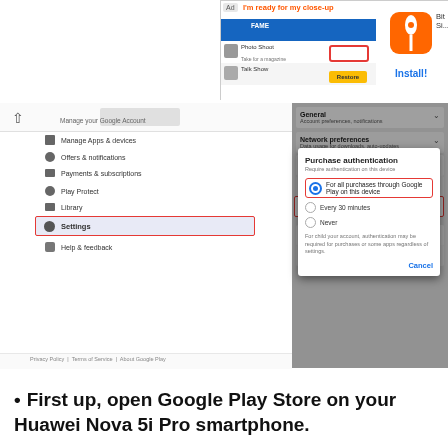[Figure (screenshot): Google Play Store settings screenshot showing Authentication options with 'Require authentication for purchases' highlighted, and a Purchase authentication dialog showing options: 'For all purchases through Google Play on this device', 'Every 30 minutes', 'Never'. Also shows an advertisement banner at the top with BitLife app.]
First up, open Google Play Store on your Huawei Nova 5i Pro smartphone.